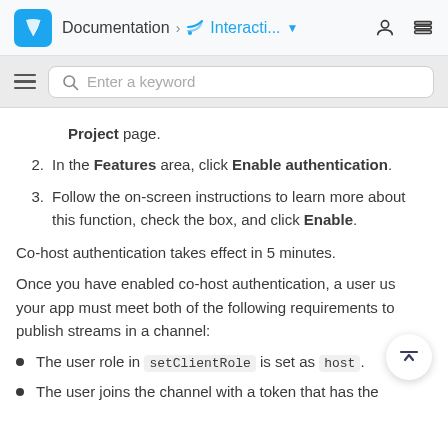Documentation > Interacti...
Project page.
In the Features area, click Enable authentication.
Follow the on-screen instructions to learn more about this function, check the box, and click Enable.
Co-host authentication takes effect in 5 minutes.
Once you have enabled co-host authentication, a user using your app must meet both of the following requirements to publish streams in a channel:
The user role in setClientRole is set as host.
The user joins the channel with a token that has the